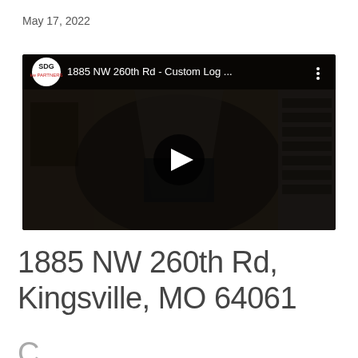May 17, 2022
[Figure (screenshot): YouTube video thumbnail showing interior of a log home with a stone fireplace and dark overlay. Video title: '1885 NW 260th Rd - Custom Log ...' with SDG KW Partners logo and play button.]
1885 NW 260th Rd, Kingsville, MO 64061